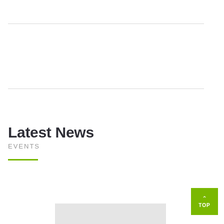Latest News
EVENTS
[Figure (other): Gray placeholder box at bottom of page]
[Figure (other): Green TOP button with upward chevron arrow in bottom right corner]